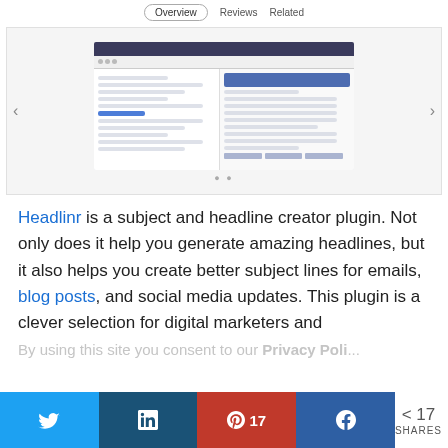[Figure (screenshot): Navigation tabs showing Overview, Reviews, Related; and a blurred screenshot of a WordPress plugin interface with a modal dialog open.]
Headlinr is a subject and headline creator plugin. Not only does it help you generate amazing headlines, but it also helps you create better subject lines for emails, blog posts, and social media updates. This plugin is a clever selection for digital marketers and
[Figure (infographic): Social sharing bar with Twitter, LinkedIn, Pinterest (17), Facebook buttons and share count of 17 SHARES]